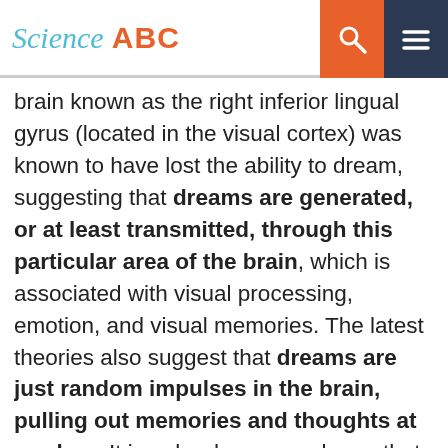Science ABC
brain known as the right inferior lingual gyrus (located in the visual cortex) was known to have lost the ability to dream, suggesting that dreams are generated, or at least transmitted, through this particular area of the brain, which is associated with visual processing, emotion, and visual memories. The latest theories also suggest that dreams are just random impulses in the brain, pulling out memories and thoughts at random. It is only when we wake up that the the brain tries to connect these random thoughts and cooks up a "dream" or a story to